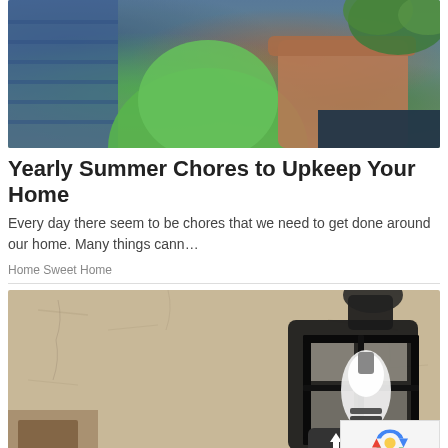[Figure (photo): Close-up photo of a person wearing a green top watering or tending to plants in terracotta pots, with blue container in background]
Yearly Summer Chores to Upkeep Your Home
Every day there seem to be chores that we need to get done around our home. Many things cann…
Home Sweet Home
[Figure (photo): Outdoor wall-mounted black lantern light fixture on a stucco or textured stone wall, with scroll-to-top button and reCAPTCHA/Privacy badge visible in corner]